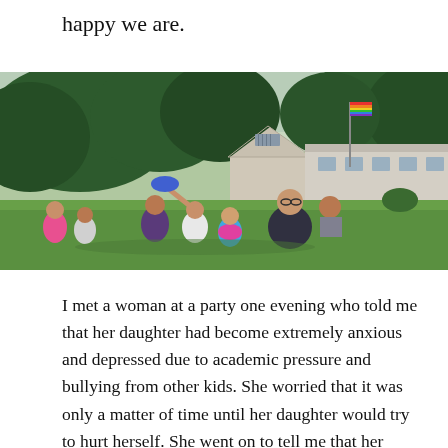happy we are.
[Figure (photo): Outdoor photograph of a group of children and an adult sitting on a grassy lawn in front of a camp or school building with a rainbow pride flag on a flagpole, surrounded by trees.]
I met a woman at a party one evening who told me that her daughter had become extremely anxious and depressed due to academic pressure and bullying from other kids. She worried that it was only a matter of time until her daughter would try to hurt herself. She went on to tell me that her daughter loved dance and gymnastics but that her talents in those areas were not valued by her teachers because her focus on these pursuits was getting